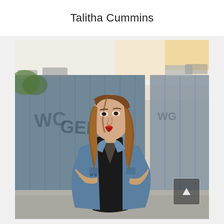Talitha Cummins
[Figure (photo): A young woman with long auburn/blonde hair wearing a denim jacket over a black deep-V outfit, standing outdoors in front of a graffiti-covered blue fence/wall with parked cars visible in the background. She has red lipstick. Bottom-right corner shows a semi-transparent play/navigation button overlay.]